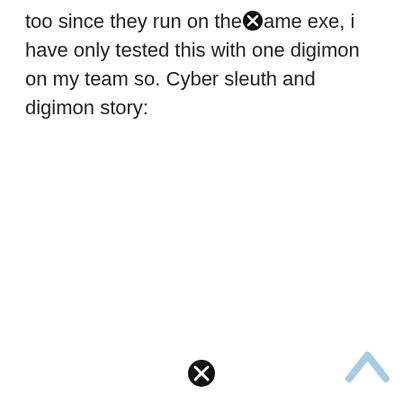too since they run on the [X] ame exe, i have only tested this with one digimon on my team so. Cyber sleuth and digimon story:
[Figure (other): Close/cancel icon circle with X at bottom center of page]
[Figure (other): Light blue upward chevron arrow in bottom right corner]